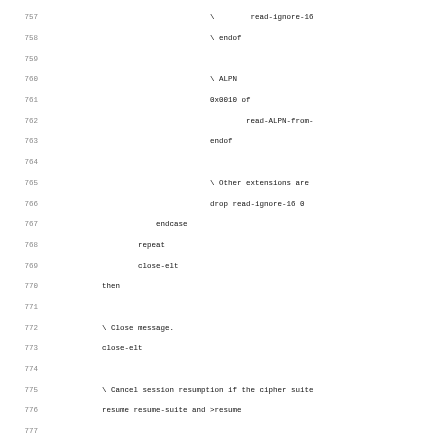Source code listing lines 757-788+ with Forth/assembly code for TLS session handling including ALPN extension parsing, endcase, repeat, close-elt, session resumption check, and protocol version computation comments.